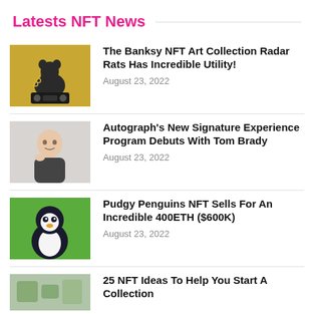Latests NFT News
[Figure (photo): Banksy-style artwork of a rat holding a boombox on a gold background]
The Banksy NFT Art Collection Radar Rats Has Incredible Utility!
August 23, 2022
[Figure (photo): Portrait photo of a man (Tom Brady) against a light background]
Autograph's New Signature Experience Program Debuts With Tom Brady
August 23, 2022
[Figure (photo): Pudgy Penguin NFT image: cartoon penguin on green background]
Pudgy Penguins NFT Sells For An Incredible 400ETH ($600K)
August 23, 2022
[Figure (photo): Thumbnail image for article about NFT ideas, partially visible]
25 NFT Ideas To Help You Start A Collection